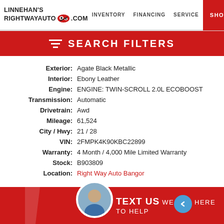Linnehan's RightWayAuto.com | INVENTORY | FINANCING | SERVICE | SHOP
SEARCH FILTERS
| Field | Value |
| --- | --- |
| Exterior: | Agate Black Metallic |
| Interior: | Ebony Leather |
| Engine: | ENGINE: TWIN-SCROLL 2.0L ECOBOOST |
| Transmission: | Automatic |
| Drivetrain: | Awd |
| Mileage: | 61,524 |
| City / Hwy: | 21 / 28 |
| VIN: | 2FMPK4K90KBC22899 |
| Warranty: | 4 Month / 4,000 Mile Limited Warranty |
| Stock: | B903809 |
| Location: | Right Way Auto Bangor |
TEXT US WE ARE HERE TO HELP